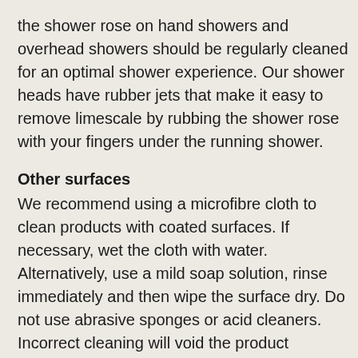the shower rose on hand showers and overhead showers should be regularly cleaned for an optimal shower experience. Our shower heads have rubber jets that make it easy to remove limescale by rubbing the shower rose with your fingers under the running shower.
Other surfaces
We recommend using a microfibre cloth to clean products with coated surfaces. If necessary, wet the cloth with water. Alternatively, use a mild soap solution, rinse immediately and then wipe the surface dry. Do not use abrasive sponges or acid cleaners. Incorrect cleaning will void the product guarantee.